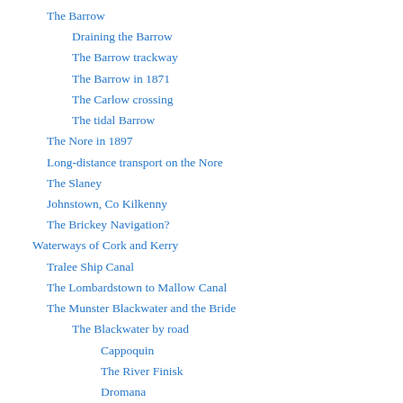The Barrow
Draining the Barrow
The Barrow trackway
The Barrow in 1871
The Carlow crossing
The tidal Barrow
The Nore in 1897
Long-distance transport on the Nore
The Slaney
Johnstown, Co Kilkenny
The Brickey Navigation?
Waterways of Cork and Kerry
Tralee Ship Canal
The Lombardstown to Mallow Canal
The Munster Blackwater and the Bride
The Blackwater by road
Cappoquin
The River Finisk
Dromana
Villierstown